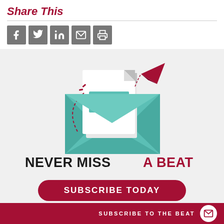Share This
[Figure (illustration): Social media share icons: Facebook, Twitter, LinkedIn, Email, Print — all in grey square buttons]
[Figure (illustration): Illustration of an open envelope with a letter, teal/turquoise colors, red paper airplane flying out, dashed arc path, 'NEVER MISS A BEAT' text below, and a 'SUBSCRIBE TODAY' dark red button]
SUBSCRIBE TO THE BEAT